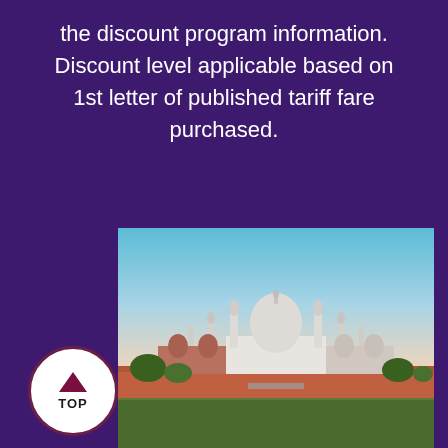the discount program information. Discount level applicable based on 1st letter of published tariff fare purchased.
[Figure (photo): Photo of the Taj Mahal in India, seen from a distance with a hazy sky background, green grass in the foreground, and red fort walls along the bottom.]